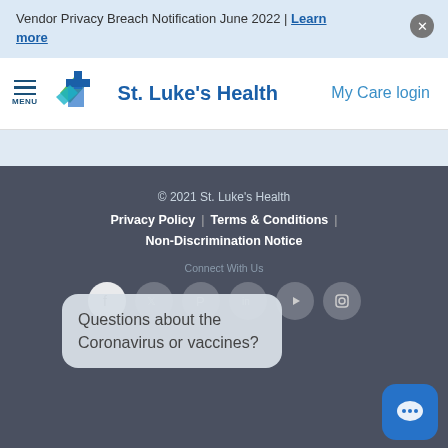Vendor Privacy Breach Notification June 2022 | Learn more
[Figure (logo): St. Luke's Health logo with green and blue cross/star icon and blue text]
My Care login
© 2021 St. Luke's Health  Privacy Policy | Terms & Conditions | Non-Discrimination Notice  Connect With Us
Questions about the Coronavirus or vaccines?